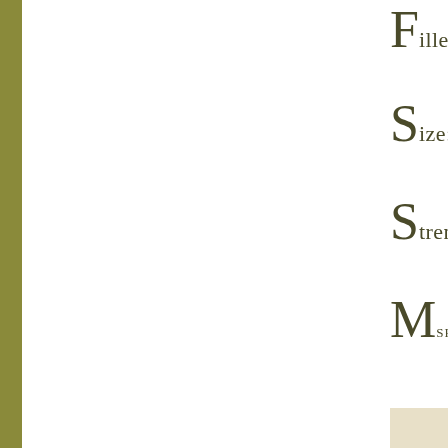Filler: Nicar...
Size: Robus...
Strength: M...
MSRP: $8.9...
[Figure (photo): Close-up photo of a dark, rough-textured cigar or tobacco product against a light/white background]